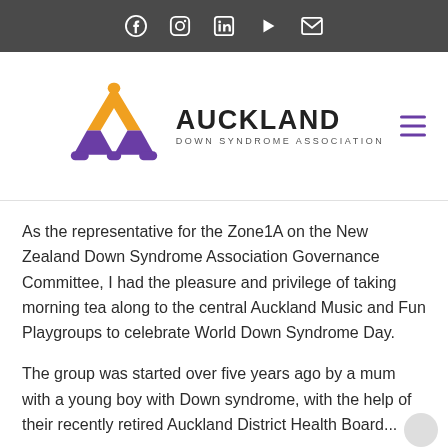Social media icons: Facebook, Instagram, LinkedIn, YouTube, Email
[Figure (logo): Auckland Down Syndrome Association logo: triangle shape in orange and purple with text AUCKLAND DOWN SYNDROME ASSOCIATION]
As the representative for the Zone1A on the New Zealand Down Syndrome Association Governance Committee, I had the pleasure and privilege of taking morning tea along to the central Auckland Music and Fun Playgroups to celebrate World Down Syndrome Day.
The group was started over five years ago by a mum with a young boy with Down syndrome, with the help of their recently retired Auckland District Health Board...